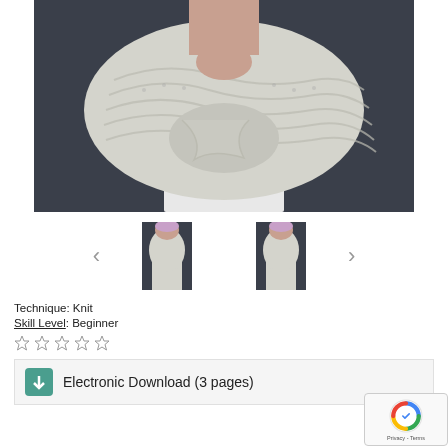[Figure (photo): Main large photo of a person wearing a chunky knit ivory/white infinity scarf, dark coat visible, face partially cropped, close-up view.]
[Figure (photo): Thumbnail 1: person with lavender/purple hair wearing white knit infinity scarf.]
[Figure (photo): Thumbnail 2: person with lavender/purple hair wearing white knit infinity scarf, similar angle.]
Technique: Knit
Skill Level: Beginner
☆ ☆ ☆ ☆ ☆
Electronic Download (3 pages)